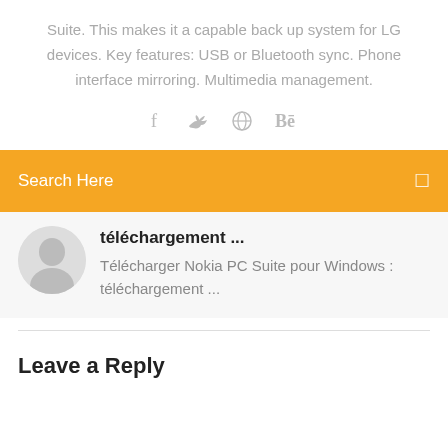Suite. This makes it a capable back up system for LG devices. Key features: USB or Bluetooth sync. Phone interface mirroring. Multimedia management.
[Figure (infographic): Social media icons: Facebook (f), Twitter (bird), Dribbble (circle with lines), Behance (Be)]
Search Here
téléchargement ...
Télécharger Nokia PC Suite pour Windows : téléchargement ...
Leave a Reply